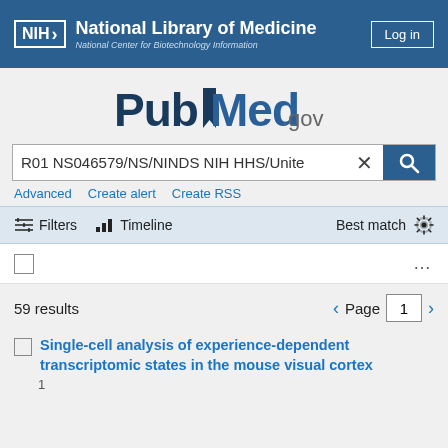[Figure (logo): NIH National Library of Medicine / National Center for Biotechnology Information header with Log in button]
[Figure (logo): PubMed.gov logo with blue bookmark icon]
R01 NS046579/NS/NINDS NIH HHS/Unite
Advanced  Create alert  Create RSS
Filters  Timeline  Best match
59 results  Page 1
Single-cell analysis of experience-dependent transcriptomic states in the mouse visual cortex